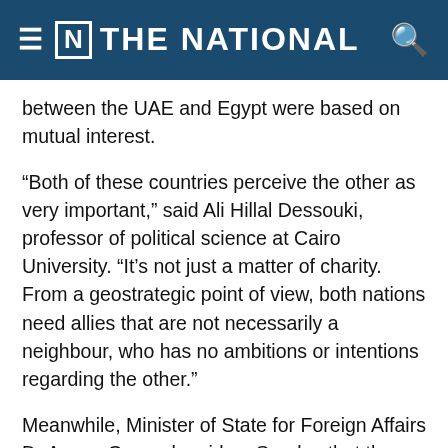≡ [N] THE NATIONAL
between the UAE and Egypt were based on mutual interest.
“Both of these countries perceive the other as very important,” said Ali Hillal Dessouki, professor of political science at Cairo University. “It’s not just a matter of charity. From a geostrategic point of view, both nations need allies that are not necessarily a neighbour, who has no ambitions or intentions regarding the other.”
Meanwhile, Minister of State for Foreign Affairs Dr Anwar Gargash said on Sunday that the stance taken against Qatar was